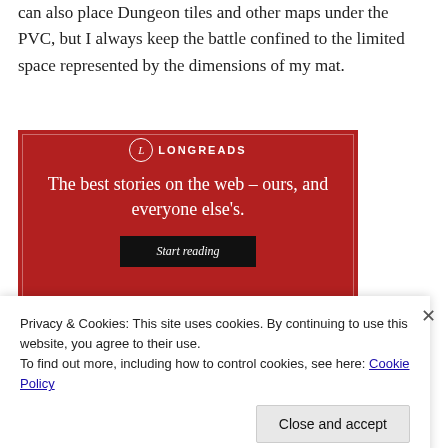can also place Dungeon tiles and other maps under the PVC, but I always keep the battle confined to the limited space represented by the dimensions of my mat.
[Figure (other): Longreads advertisement banner on red background with white text reading 'The best stories on the web – ours, and everyone else's.' with a 'Start reading' button.]
Privacy & Cookies: This site uses cookies. By continuing to use this website, you agree to their use.
To find out more, including how to control cookies, see here: Cookie Policy